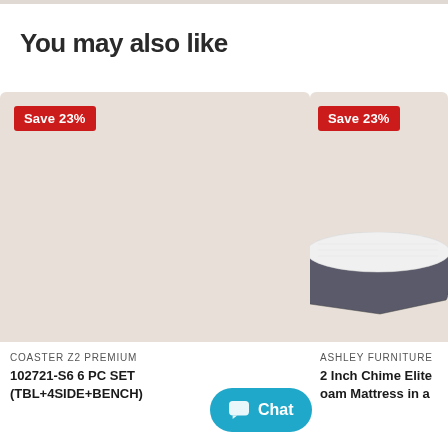You may also like
[Figure (photo): Product card showing 'Save 23%' badge on a beige/taupe background placeholder image for COASTER Z2 PREMIUM furniture set]
COASTER Z2 PREMIUM
102721-S6 6 PC SET (TBL+4SIDE+BENCH)
[Figure (photo): Product card showing 'Save 23%' badge with a mattress product image (white top, gray sides) on beige background for ASHLEY FURNITURE]
ASHLEY FURNITURE
2 Inch Chime Elite Foam Mattress in a